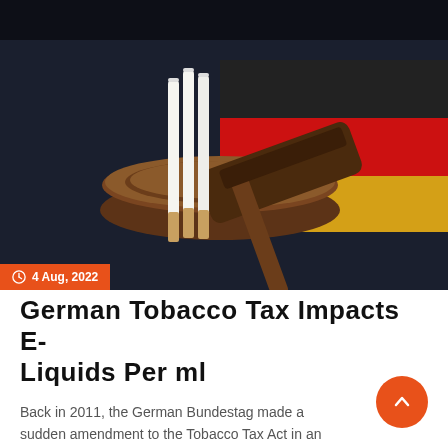[Figure (photo): A judge's wooden gavel resting on a sound block with three cigarettes placed on top, set against the German flag background in black, red, and gold colors.]
4 Aug, 2022
German Tobacco Tax Impacts E-Liquids Per ml
Back in 2011, the German Bundestag made a sudden amendment to the Tobacco Tax Act in an